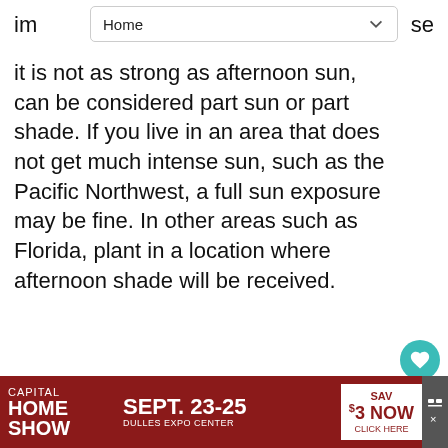Home
it is not as strong as afternoon sun, can be considered part sun or part shade. If you live in an area that does not get much intense sun, such as the Pacific Northwest, a full sun exposure may be fine. In other areas such as Florida, plant in a location where afternoon shade will be received.
Conditions : Full to Partial Sun
Full sunlight is needed for many plants to assume their full potential. Many of these plants will do fine with a little less sunlight, although they may not reach their full potential, and
[Figure (other): WHAT'S NEXT arrow with thumbnail of ornamental grasses and text: Grasses, Ornamental,...]
[Figure (other): Advertisement banner: CAPITAL HOME SHOW SEPT. 23-25 DULLES EXPO CENTER SAVE $3 NOW CLICK HERE]